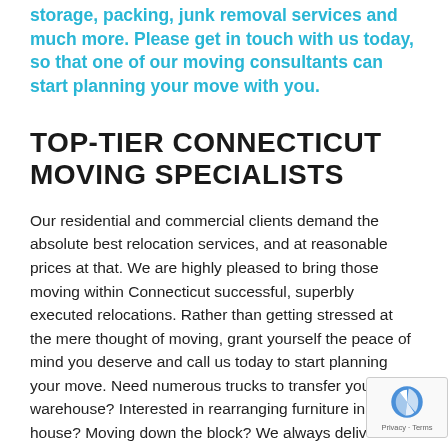storage, packing, junk removal services and much more. Please get in touch with us today, so that one of our moving consultants can start planning your move with you.
TOP-TIER CONNECTICUT MOVING SPECIALISTS
Our residential and commercial clients demand the absolute best relocation services, and at reasonable prices at that. We are highly pleased to bring those moving within Connecticut successful, superbly executed relocations. Rather than getting stressed at the mere thought of moving, grant yourself the peace of mind you deserve and call us today to start planning your move. Need numerous trucks to transfer your warehouse? Interested in rearranging furniture in house? Moving down the block? We always deliver best results with small scale and large scale moves,